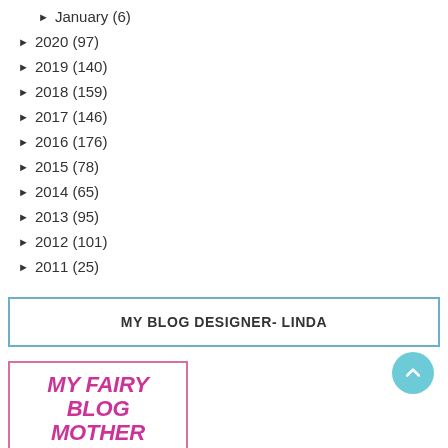► January (6)
► 2020 (97)
► 2019 (140)
► 2018 (159)
► 2017 (146)
► 2016 (176)
► 2015 (78)
► 2014 (65)
► 2013 (95)
► 2012 (101)
► 2011 (25)
MY BLOG DESIGNER- LINDA
[Figure (other): MY FAIRY BLOG MOTHER logo/banner in pink bordered box]